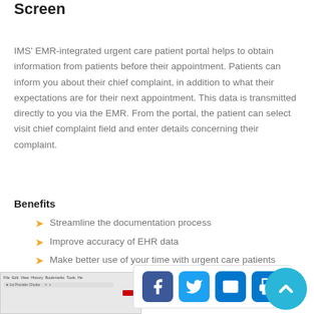Patient Portal Chief Complaint Input Screen
IMS' EMR-integrated urgent care patient portal helps to obtain information from patients before their appointment. Patients can inform you about their chief complaint, in addition to what their expectations are for their next appointment. This data is transmitted directly to you via the EMR. From the portal, the patient can select visit chief complaint field and enter details concerning their complaint.
Benefits
Streamline the documentation process
Improve accuracy of EHR data
Make better use of your time with urgent care patients
[Figure (screenshot): Screenshot of a browser window showing a patient portal interface]
[Figure (infographic): Social sharing bar with Facebook, Twitter, email, and print buttons, plus a teal scroll-to-top chevron button]